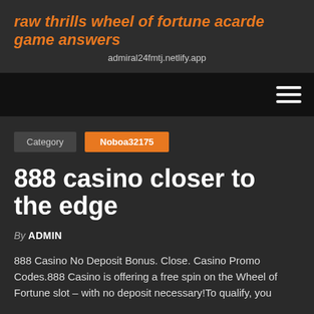raw thrills wheel of fortune acarde game answers
admiral24fmtj.netlify.app
[Figure (other): Navigation bar with hamburger menu icon (three horizontal white lines) on black background]
Category  Noboa32175
888 casino closer to the edge
By ADMIN
888 Casino No Deposit Bonus. Close. Casino Promo Codes.888 Casino is offering a free spin on the Wheel of Fortune slot – with no deposit necessary!To qualify, you